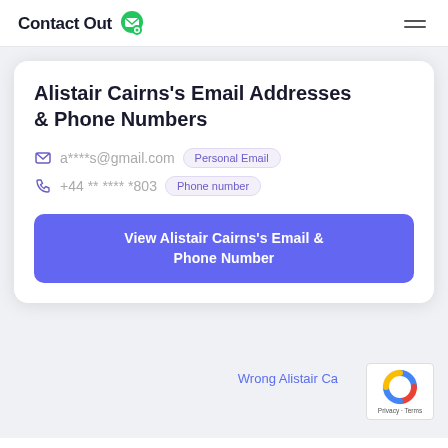ContactOut
Alistair Cairns's Email Addresses & Phone Numbers
a****s@gmail.com  Personal Email
+44 ** **** *803  Phone number
View Alistair Cairns's Email & Phone Number
Wrong Alistair Ca...